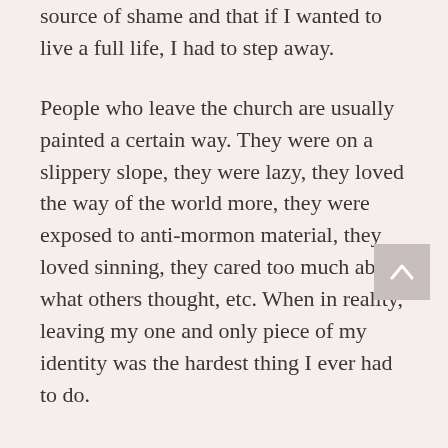source of shame and that if I wanted to live a full life, I had to step away.
People who leave the church are usually painted a certain way. They were on a slippery slope, they were lazy, they loved the way of the world more, they were exposed to anti-mormon material, they loved sinning, they cared too much about what others thought, etc. When in reality, leaving my one and only piece of my identity was the hardest thing I ever had to do.
I knew that there would be some major repercussions, the major one being an outcast in my predominantly LDS family. I believed I